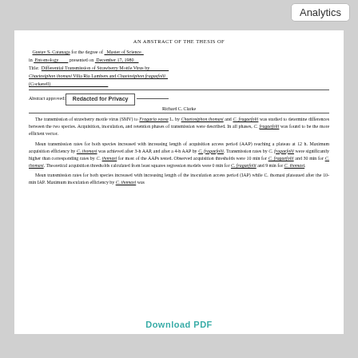AN ABSTRACT OF THE THESIS OF
Gustav S. Catanaga for the degree of Master of Science in Entomology presented on December 17, 1980 Title: Differential Transmission of Strawberry Mottle Virus by Chaetosiphon thomasi Vilia Ria Lambers and Chaetosiphon fragaefolii (Cockerell)
Abstract approved: [Redacted for Privacy] Richard C. Clarke
The transmission of strawberry mottle virus (SMV) to Fragaria vassa L. by Chaetosiphon thomasi and C. fragaefolii was studied to determine differences between the two species. Acquisition, inoculation, and retention phases of transmission were described. In all phases, C. fragaefolii was found to be the more efficient vector.

Mean transmission rates for both species increased with increasing length of acquisition access period (AAP) reaching a plateau at 12 h. Maximum acquisition efficiency by C. thomasi was achieved after 3-h AAP, and after a 4-h AAP by C. fragaefolii. Transmission rates by C. fragaefolii were significantly higher than corresponding rates by C. thomasi for most of the AAPs tested. Observed acquisition thresholds were 10 min for C. fragaefolii and 30 min for C. thomasi. Theoretical acquisition thresholds calculated from least squares regression models were 0 min for C. fragaefolii and 9 min for C. thomasi.

Mean transmission rates for both species increased with increasing length of the inoculation access period (IAP) while C. thomasi plateaued after the 10-min IAP. Maximum inoculation efficiency by C. thomasi was
Download PDF